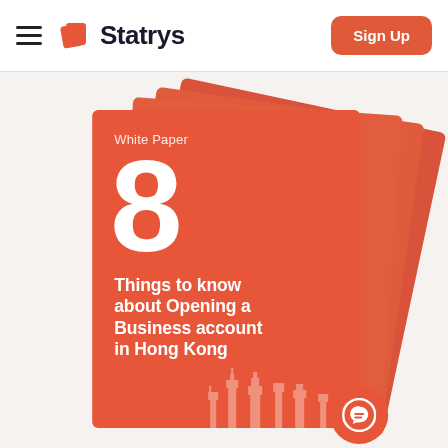Statrys — Sign Up
[Figure (illustration): A stack of red booklets/white papers fanned out. The front booklet reads 'White Paper' at top, a large '8' in the middle, and 'Things to know about Opening a Business account in Hong Kong' as the subtitle. Hong Kong skyline silhouette is partially visible at the bottom right of the booklet.]